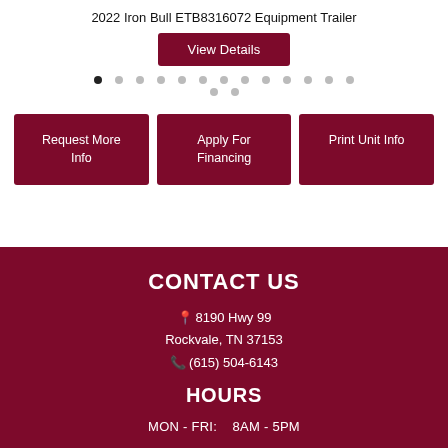2022 Iron Bull ETB8316072 Equipment Trailer
View Details
[Figure (other): Carousel navigation dots — 13 dots on first row (first active/dark, rest gray), 2 dots on second row]
Request More Info
Apply For Financing
Print Unit Info
CONTACT US
8190 Hwy 99
Rockvale, TN 37153
(615) 504-6143
HOURS
MON - FRI:    8AM - 5PM